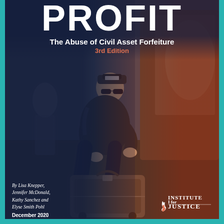PROFIT
The Abuse of Civil Asset Forfeiture
3rd Edition
[Figure (photo): A person wearing a POLO cap and sunglasses crouching next to a suitcase near a car, with a blue/dark overlay on the left and a red/orange overlay on the right.]
By Lisa Knepper, Jennifer McDonald, Kathy Sanchez and Elyse Smith Pohl
December 2020
[Figure (logo): Institute for Justice logo with flame icon and text 'Institute for Justice']